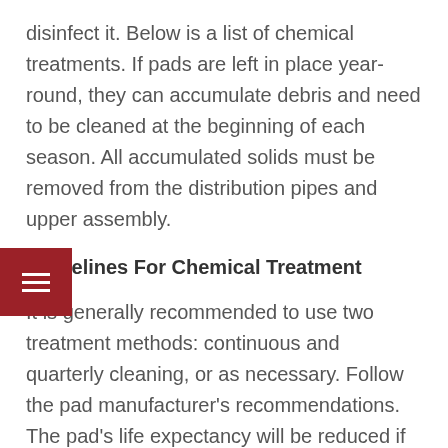disinfect it. Below is a list of chemical treatments. If pads are left in place year-round, they can accumulate debris and need to be cleaned at the beginning of each season. All accumulated solids must be removed from the distribution pipes and upper assembly.
Guidelines For Chemical Treatment
It is generally recommended to use two treatment methods: continuous and quarterly cleaning, or as necessary. Follow the pad manufacturer's recommendations. The pad's life expectancy will be reduced if you don't add bleach (chlorine), or bromine. For continuous treatment as an Algaecide, compounds containing quaternary